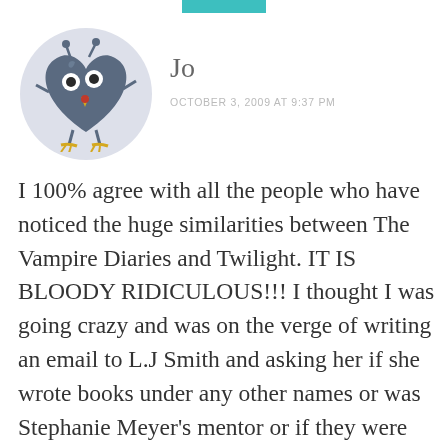[Figure (illustration): Round avatar with light grey/blue circle background containing a cartoon blue heart-shaped creature with bug eyes on stalks, small wings/arms, a yellow beak, and yellow bird feet]
Jo
OCTOBER 3, 2009 AT 9:37 PM
I 100% agree with all the people who have noticed the huge similarities between The Vampire Diaries and Twilight. IT IS BLOODY RIDICULOUS!!! I thought I was going crazy and was on the verge of writing an email to L.J Smith and asking her if she wrote books under any other names or was Stephanie Meyer's mentor or if they were related!!! I can't understand why L.J Smith hasn't filed a